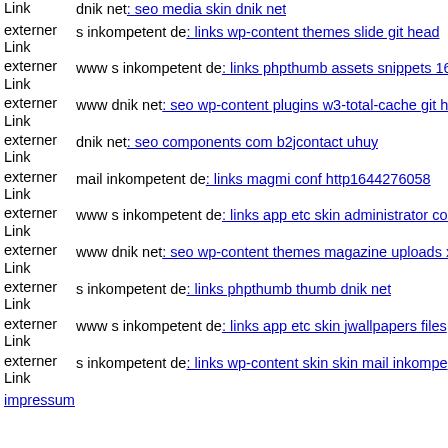externer Link  dnik net: seo media skin dnik net
externer Link  s inkompetent de: links wp-content themes slide git head
externer Link  www s inkompetent de: links phpthumb assets snippets 164
externer Link  www dnik net: seo wp-content plugins w3-total-cache git h
externer Link  dnik net: seo components com b2jcontact uhuy
externer Link  mail inkompetent de: links magmi conf http1644276058
externer Link  www s inkompetent de: links app etc skin administrator com
externer Link  www dnik net: seo wp-content themes magazine uploads xa
externer Link  s inkompetent de: links phpthumb thumb dnik net
externer Link  www s inkompetent de: links app etc skin jwallpapers files
externer Link  s inkompetent de: links wp-content skin skin mail inkompetent
impressum